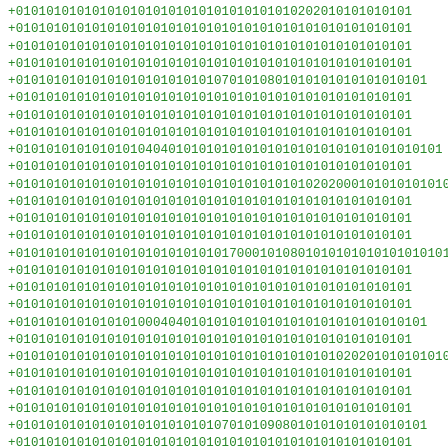+0101010101010101010101010101010101010202010101010101
+0101010101010101010101010101010101010101010101010101
+0101010101010101010101010101010101010101010101010101
+0101010101010101010101010101010101010101010101010101
+01010101010101010101010101070101080101010101010101
+0101010101010101010101010101010101010101010101010101
+0101010101010101010101010101010101010101010101010101
+0101010101010101010101010101010101010101010101010101
+010101010101010404010101010101010101010101010101
+0101010101010101010101010101010101010101010101010101
+010101010101010101010101010101010101020200010101010101
+0101010101010101010101010101010101010101010101010101
+0101010101010101010101010101010101010101010101010101
+0101010101010101010101010101010101010101010101010101
+010101010101010101010101010170001010801010101010101
+0101010101010101010101010101010101010101010101010101
+0101010101010101010101010101010101010101010101010101
+0101010101010101010101010101010101010101010101010101
+01010101010101000404010101010101010101010101010101
+0101010101010101010101010101010101010101010101010101
+01010101010101010101010101010101010101020201010101010101
+0101010101010101010101010101010101010101010101010101
+0101010101010101010101010101010101010101010101010101
+0101010101010101010101010101010101010101010101010101
+01010101010101010101010170101090801010101010101
+0101010101010101010101010101010101010101010101010101
+0101010101010101010101010101010101010101010101010101
+0101010101010101010101010101010101010101010101010101
+010101010101010404010101010101010101010101010101
+0101010101010101010101010101010101010101010101010101